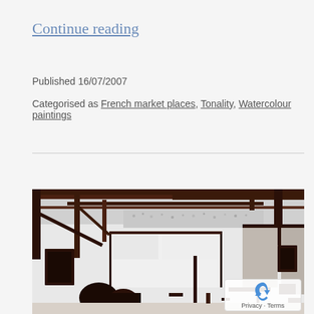Continue reading
Published 16/07/2007
Categorised as French market places, Tonality, Watercolour paintings
[Figure (illustration): Watercolour painting of a French market scene with dark brown and grey tones, showing market stalls, structures, and figures in an expressionist style.]